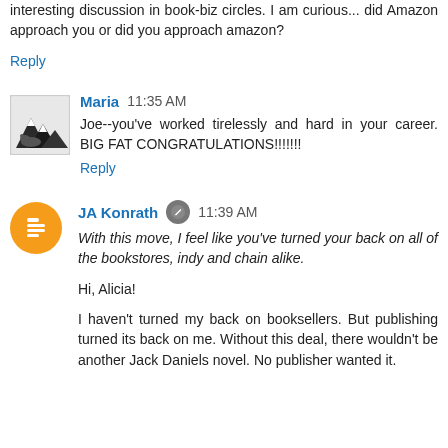Congratulations, Joe. This should generate a lot of interesting discussion in book-biz circles. I am curious... did Amazon approach you or did you approach amazon?
Reply
Maria  11:35 AM
Joe--you've worked tirelessly and hard in your career. BIG FAT CONGRATULATIONS!!!!!!!
Reply
JA Konrath  11:39 AM
With this move, I feel like you've turned your back on all of the bookstores, indy and chain alike.
Hi, Alicia!
I haven't turned my back on booksellers. But publishing turned its back on me. Without this deal, there wouldn't be another Jack Daniels novel. No publisher wanted it.